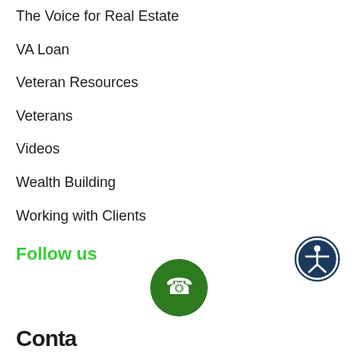The Voice for Real Estate
VA Loan
Veteran Resources
Veterans
Videos
Wealth Building
Working with Clients
Follow us
[Figure (illustration): Accessibility icon — dark blue circle with white person figure arms outstretched]
[Figure (illustration): Green circle phone button with white telephone handset icon]